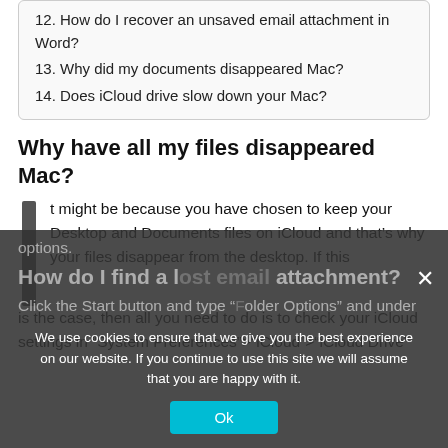12. How do I recover an unsaved email attachment in Word?
13. Why did my documents disappeared Mac?
14. Does iCloud drive slow down your Mac?
Why have all my files disappeared Mac?
It might be because you have chosen to keep your Desktop and Documents files on iCloud and that's why your files disappear from the desktop. If this is the case, then all you need to do is to check your iCloud settings in “System Preferences„>“iCloud„>“iCloud Drive” options.
How do I find a lost email attachment?
Click the Start button and type “Folder Options” and under
We use cookies to ensure that we give you the best experience on our website. If you continue to use this site we will assume that you are happy with it.